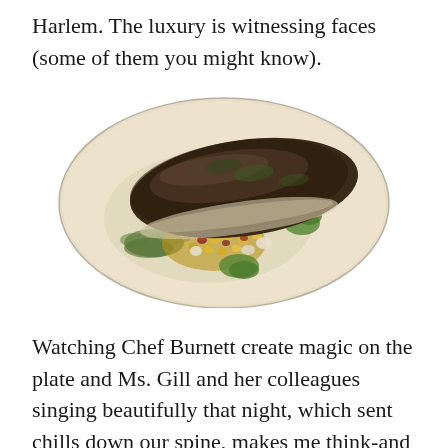Harlem. The luxury is witnessing faces (some of them you might know).
[Figure (photo): A plated dish featuring a seared fish fillet with crispy skin on a white plate, garnished with corn succotash, green puree, and herb sauce.]
Watching Chef Burnett create magic on the plate and Ms. Gill and her colleagues singing beautifully that night, which sent chills down our spine, makes me think-and say again-"there is so much talent in Harlem" its endless and